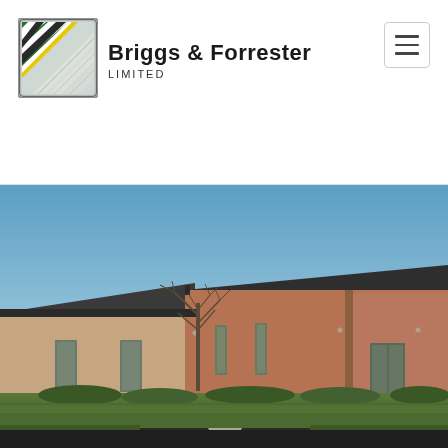[Figure (logo): Briggs & Forrester Limited company logo — a square badge with diagonal green, white, and yellow stripes on a silver/grey background]
Briggs & Forrester LIMITED
[Figure (photo): Exterior photograph of a modern single-storey brick building with a dark flat roof, set against a clear blue sky. A bare tree stands in front. The landscaping includes a grass lawn, low shrubs, and a dark tarmac driveway in the foreground.]